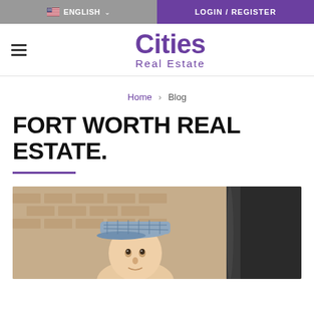ENGLISH | LOGIN / REGISTER
[Figure (logo): Cities Real Estate logo with purple text, hamburger menu on left]
Home > Blog
FORT WORTH REAL ESTATE.
[Figure (photo): A person wearing a plaid flat cap looking up, with a brick wall background and a dark cylindrical object in the foreground]